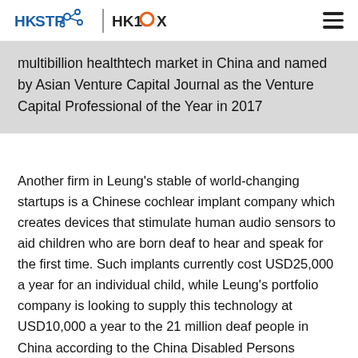HKSTP | HK10X
multibillion healthtech market in China and named by Asian Venture Capital Journal as the Venture Capital Professional of the Year in 2017
Another firm in Leung's stable of world-changing startups is a Chinese cochlear implant company which creates devices that stimulate human audio sensors to aid children who are born deaf to hear and speak for the first time. Such implants currently cost USD25,000 a year for an individual child, while Leung's portfolio company is looking to supply this technology at USD10,000 a year to the 21 million deaf people in China according to the China Disabled Persons Federation, plus millions more worldwide.